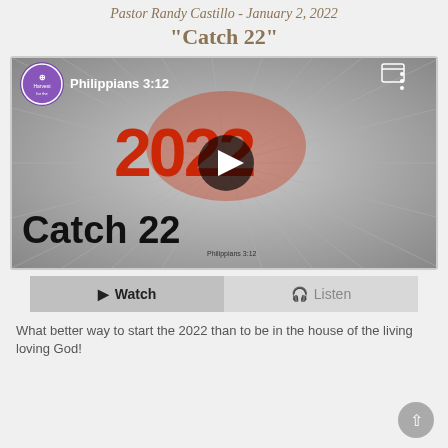Pastor Randy Castillo - January 2, 2022
"Catch 22"
[Figure (screenshot): YouTube video thumbnail for sermon 'Catch 22' by Pastor Randy Castillo, showing Philippians 3:12 text, year 2022 in large red letters, a man in a suit reaching forward, and 'Catch 22' in large black bold text at the bottom. A play button is centered on the thumbnail.]
Watch   Listen
What better way to start the 2022 than to be in the house of the living loving God!